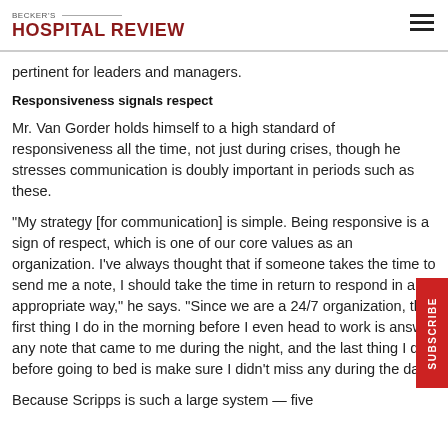BECKER'S HOSPITAL REVIEW
pertinent for leaders and managers.
Responsiveness signals respect
Mr. Van Gorder holds himself to a high standard of responsiveness all the time, not just during crises, though he stresses communication is doubly important in periods such as these.
"My strategy [for communication] is simple. Being responsive is a sign of respect, which is one of our core values as an organization. I've always thought that if someone takes the time to send me a note, I should take the time in return to respond in an appropriate way," he says. "Since we are a 24/7 organization, the first thing I do in the morning before I even head to work is answer any note that came to me during the night, and the last thing I do before going to bed is make sure I didn't miss any during the day."
Because Scripps is such a large system — five